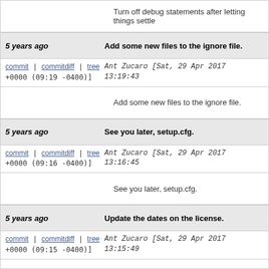Turn off debug statements after letting things settle
5 years ago   Add some new files to the ignore file.
commit | commitdiff | tree   Ant Zucaro [Sat, 29 Apr 2017 13:19:43 +0000 (09:19 -0400)]
Add some new files to the ignore file.
5 years ago   See you later, setup.cfg.
commit | commitdiff | tree   Ant Zucaro [Sat, 29 Apr 2017 13:16:45 +0000 (09:16 -0400)]
See you later, setup.cfg.
5 years ago   Update the dates on the license.
commit | commitdiff | tree   Ant Zucaro [Sat, 29 Apr 2017 13:15:49 +0000 (09:15 -0400)]
Update the dates on the license.
5 years ago   We don't need CHANGES.txt either.
commit | commitdiff | tree   Ant Zucaro [Sat, 29 Apr 2017 13:15:23 +0000 (09:15 -0400)]